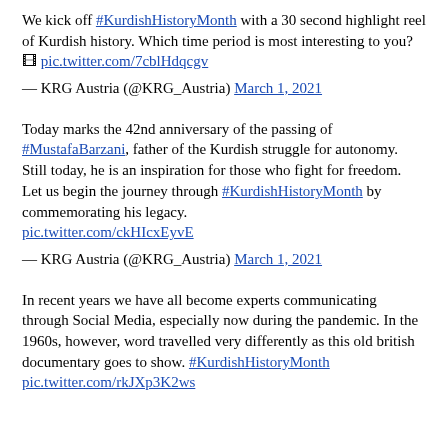We kick off #KurdishHistoryMonth with a 30 second highlight reel of Kurdish history. Which time period is most interesting to you? 🎞 pic.twitter.com/7cblHdqcgv
— KRG Austria (@KRG_Austria) March 1, 2021
Today marks the 42nd anniversary of the passing of #MustafaBarzani, father of the Kurdish struggle for autonomy. Still today, he is an inspiration for those who fight for freedom.
Let us begin the journey through #KurdishHistoryMonth by commemorating his legacy.
pic.twitter.com/ckHIcxEyvE
— KRG Austria (@KRG_Austria) March 1, 2021
In recent years we have all become experts communicating through Social Media, especially now during the pandemic. In the 1960s, however, word travelled very differently as this old british documentary goes to show. #KurdishHistoryMonth pic.twitter.com/rkJXp3K2ws